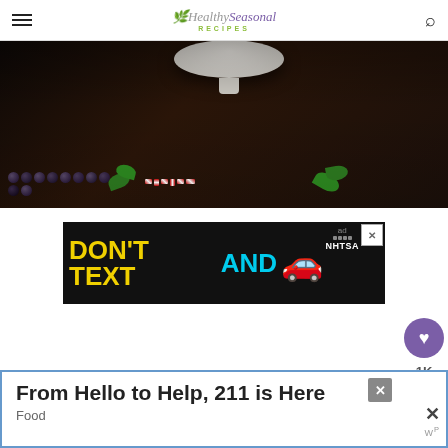Healthy Seasonal Recipes
[Figure (photo): Dark background with chocolate-covered treats, mint leaves, red and white candy pieces, and a white cake stand pedestal on a dark wooden surface]
[Figure (other): NHTSA advertisement banner: 'DON'T TEXT AND [car image] ad NHTSA' on black background]
[Figure (other): Social sharing widget with heart/save button showing 1K saves and a share button]
[Figure (other): Bottom advertisement: 'From Hello to Help, 211 is Here' with Food subcategory label and close button]